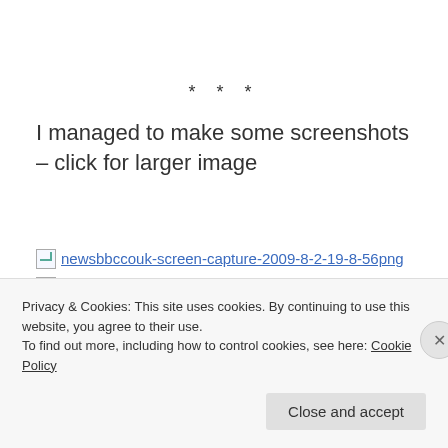* * *
I managed to make some screenshots – click for larger image
[Figure (screenshot): newsbbccouk-screen-capture-2009-8-2-19-8-56png (broken image link)]
[Figure (screenshot): newsbbccouk-screen-capture-2009-8-2-19-9-18png (broken image link)]
[Figure (screenshot): newsbbccouk-screen-capture-2009-8-2-19-49-22png (broken image link)]
Privacy & Cookies: This site uses cookies. By continuing to use this website, you agree to their use.
To find out more, including how to control cookies, see here: Cookie Policy